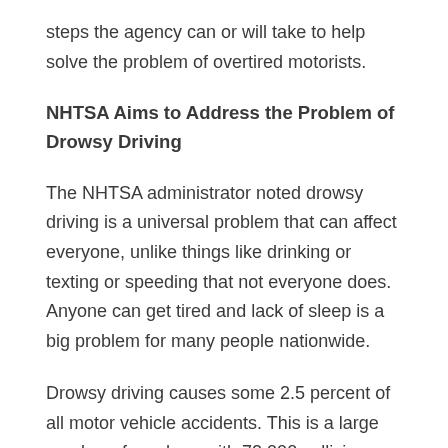steps the agency can or will take to help solve the problem of overtired motorists.
NHTSA Aims to Address the Problem of Drowsy Driving
The NHTSA administrator noted drowsy driving is a universal problem that can affect everyone, unlike things like drinking or texting or speeding that not everyone does. Anyone can get tired and lack of sleep is a big problem for many people nationwide.
Drowsy driving causes some 2.5 percent of all motor vehicle accidents. This is a large number of crashes, with 72,000 collisions every year in the United States